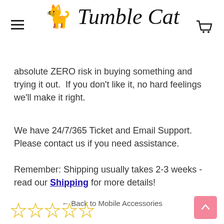Tumble Cat
absolute ZERO risk in buying something and trying it out. If you don't like it, no hard feelings we'll make it right.
We have 24/7/365 Ticket and Email Support. Please contact us if you need assistance.
Remember: Shipping usually takes 2-3 weeks - read our Shipping for more details!
← Back to Mobile Accessories
[Figure (other): Five empty star rating icons in gold/yellow outline]